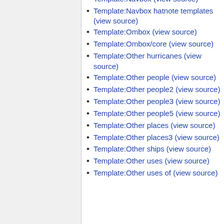Template:Navbox (view source)
Template:Navbox hatnote templates (view source)
Template:Ombox (view source)
Template:Ombox/core (view source)
Template:Other hurricanes (view source)
Template:Other people (view source)
Template:Other people2 (view source)
Template:Other people3 (view source)
Template:Other people5 (view source)
Template:Other places (view source)
Template:Other places3 (view source)
Template:Other ships (view source)
Template:Other uses (view source)
Template:Other uses of (view source)